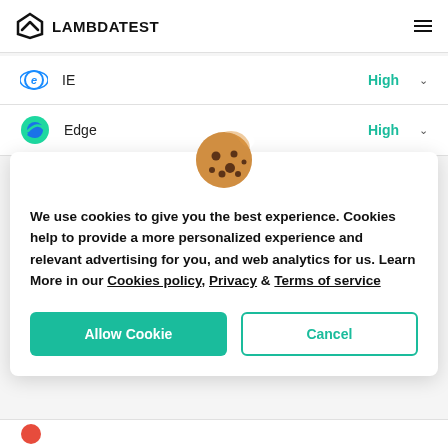LAMBDATEST
IE   High
Edge   High
We use cookies to give you the best experience. Cookies help to provide a more personalized experience and relevant advertising for you, and web analytics for us. Learn More in our Cookies policy, Privacy & Terms of service
Allow Cookie | Cancel